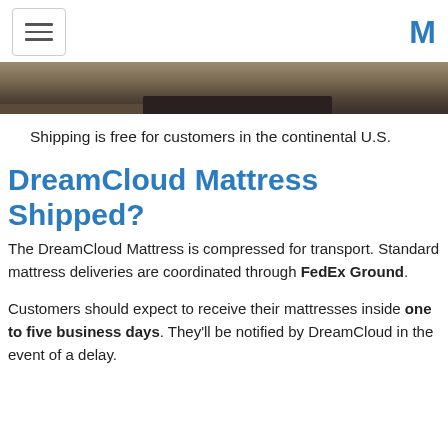[hamburger menu icon] [M logo]
[Figure (photo): Bottom edge of a bed/mattress on a wooden floor, dark frame visible]
Shipping is free for customers in the continental U.S.
DreamCloud Mattress Shipped?
The DreamCloud Mattress is compressed for transport. Standard mattress deliveries are coordinated through FedEx Ground.
Customers should expect to receive their mattresses inside one to five business days. They'll be notified by DreamCloud in the event of a delay.